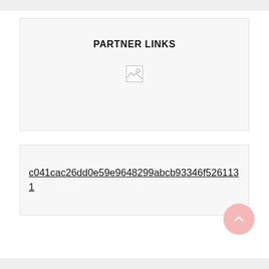PARTNER LINKS
[Figure (illustration): Broken image placeholder icon inside the Partner Links section]
c041cac26dd0e59e9648299abcb93346f5261131